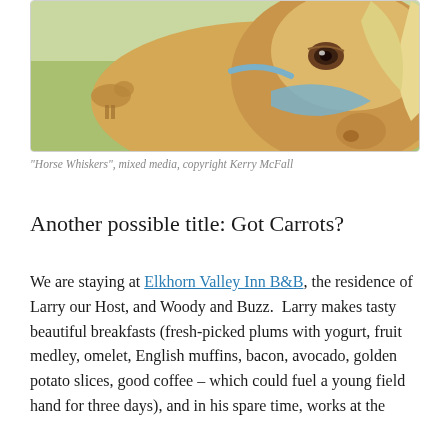[Figure (illustration): Watercolor/mixed media illustration of a horse's face close-up, showing the eye, nose area, and light-colored mane with a blue halter. Background shows green pasture and another horse in the distance.]
“Horse Whiskers”, mixed media, copyright Kerry McFall
Another possible title:  Got Carrots?
We are staying at Elkhorn Valley Inn B&B, the residence of Larry our Host, and Woody and Buzz.  Larry makes tasty beautiful breakfasts (fresh-picked plums with yogurt, fruit medley, omelet, English muffins, bacon, avocado, golden potato slices, good coffee – which could fuel a young field hand for three days), and in his spare time, works at the